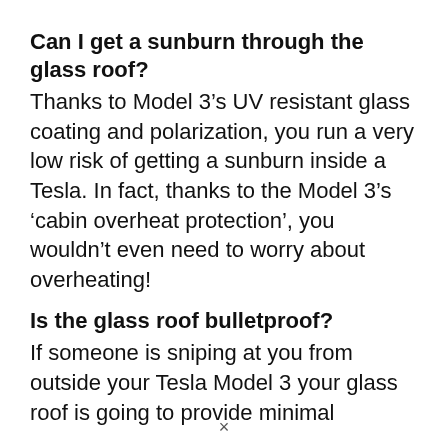Can I get a sunburn through the glass roof?
Thanks to Model 3’s UV resistant glass coating and polarization, you run a very low risk of getting a sunburn inside a Tesla. In fact, thanks to the Model 3’s ‘cabin overheat protection’, you wouldn’t even need to worry about overheating!
Is the glass roof bulletproof?
If someone is sniping at you from outside your Tesla Model 3 your glass roof is going to provide minimal